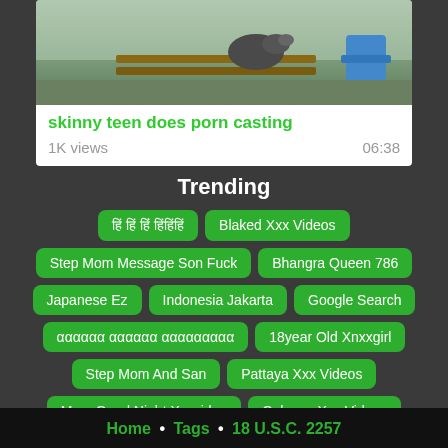[Figure (photo): Video thumbnail showing a bird or duck on a wooden bench outdoors]
skinny teen does porn casting
1K views  06:38
Trending
हिं हिं हिंं हिंहिंहिं
Blaked Xxx Videos
Step Mom Message Son Fuck
Bhangra Queen 786
Japanese Ez
Indonesia Jakarta
Google Search
αααααα αααααα ααααααααα
18year Old Xnxxgirl
Step Mom And San
Pattaya Xxx Videos
Mom Good Night Xxxvideo
Culonas Xxx Videos
My Cousin Sister
Japanese Kidnapped
Home • Tags • 18 U.S.C. 2257